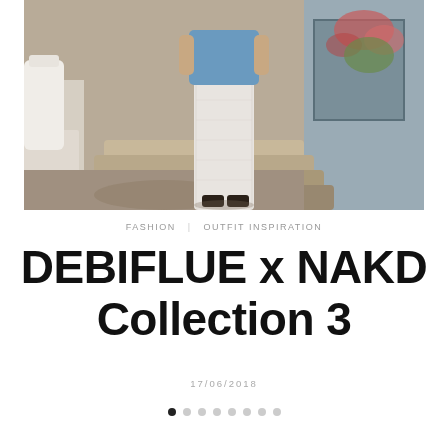[Figure (photo): Fashion blog photo of a woman wearing a sheer white lace maxi skirt with a blue top and black sandals, standing on stone steps in a Mediterranean outdoor setting with stone walls and pink flowers in the background.]
FASHION   OUTFIT INSPIRATION
DEBIFLUE x NAKD Collection 3
17/06/2018
[Figure (other): Pagination dots: 8 dots, first dot filled black indicating current page, remaining 7 dots grey]